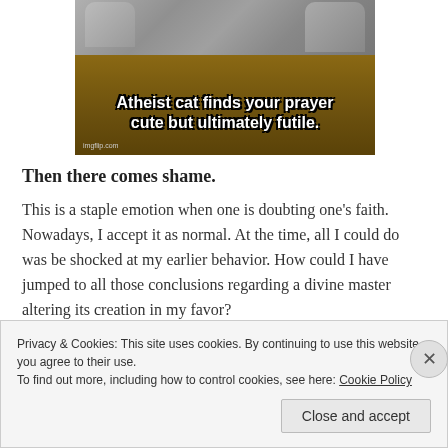[Figure (photo): Meme image of a grey cat lying on a wooden surface with white bold Impact-font text overlay reading 'Atheist cat finds your prayer cute but ultimately futile.' with imgflip.com watermark]
Then there comes shame.
This is a staple emotion when one is doubting one's faith. Nowadays, I accept it as normal. At the time, all I could do was be shocked at my earlier behavior. How could I have jumped to all those conclusions regarding a divine master altering its creation in my favor?
Privacy & Cookies: This site uses cookies. By continuing to use this website, you agree to their use.
To find out more, including how to control cookies, see here: Cookie Policy